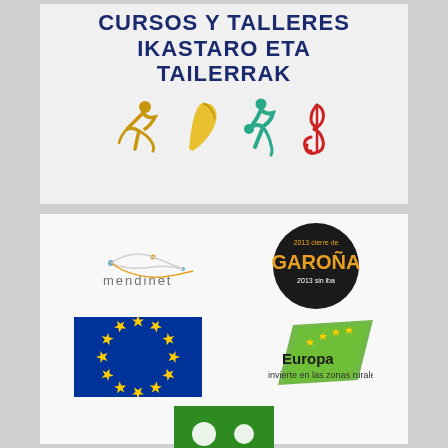CURSOS Y TALLERES
IKASTARO ETA TAILERRAK
[Figure (illustration): Four colorful icons: a golden dancer figure, a yellow book/quill, a teal basketball player, and a red treble clef music note]
[Figure (logo): Mendinet logo with stylized network lines and text 'mendinet']
[Figure (logo): Garoña circular black logo with text '2013 cierre de ¡GAROÑA! 2013 sin iba']
[Figure (logo): European Union flag logo: blue rectangle with yellow stars in circle]
[Figure (logo): Europa invierte en las zonas rurales logo with green diagonal stripe and yellow stars]
[Figure (logo): Partial green logo at bottom center, partially cut off]